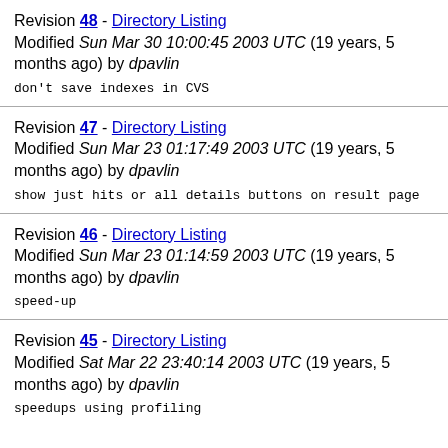Revision 48 - Directory Listing
Modified Sun Mar 30 10:00:45 2003 UTC (19 years, 5 months ago) by dpavlin
don't save indexes in CVS
Revision 47 - Directory Listing
Modified Sun Mar 23 01:17:49 2003 UTC (19 years, 5 months ago) by dpavlin
show just hits or all details buttons on result page
Revision 46 - Directory Listing
Modified Sun Mar 23 01:14:59 2003 UTC (19 years, 5 months ago) by dpavlin
speed-up
Revision 45 - Directory Listing
Modified Sat Mar 22 23:40:14 2003 UTC (19 years, 5 months ago) by dpavlin
speedups using profiling